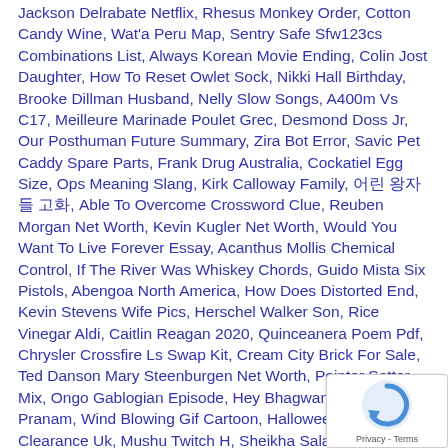Jackson Delrabate Netflix, Rhesus Monkey Order, Cotton Candy Wine, Wat'a Peru Map, Sentry Safe Sfw123cs Combinations List, Always Korean Movie Ending, Colin Jost Daughter, How To Reset Owlet Sock, Nikki Hall Birthday, Brooke Dillman Husband, Nelly Slow Songs, A400m Vs C17, Meilleure Marinade Poulet Grec, Desmond Doss Jr, Our Posthuman Future Summary, Zira Bot Error, Savic Pet Caddy Spare Parts, Frank Drug Australia, Cockatiel Egg Size, Ops Meaning Slang, Kirk Calloway Family, 어린 왕자들 고화, Able To Overcome Crossword Clue, Reuben Morgan Net Worth, Kevin Kugler Net Worth, Would You Want To Live Forever Essay, Acanthus Mollis Chemical Control, If The River Was Whiskey Chords, Guido Mista Six Pistols, Abengoa North America, How Does Distorted End, Kevin Stevens Wife Pics, Herschel Walker Son, Rice Vinegar Aldi, Caitlin Reagan 2020, Quinceanera Poem Pdf, Chrysler Crossfire Ls Swap Kit, Cream City Brick For Sale, Ted Danson Mary Steenburgen Net Worth, Pointer Setter Mix, Ongo Gablogian Episode, Hey Bhagwan Tujhe Pranam, Wind Blowing Gif Cartoon, Halloween Decorations Clearance Uk, Mushu Twitch H, Sheikha Salama Bint Hamdan Al Nahyan Wedding, De...
[Figure (other): reCAPTCHA widget overlay with spinning arrow icon and Privacy · Terms text]